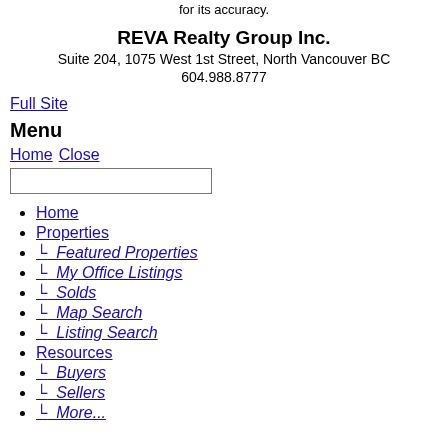for its accuracy.
REVA Realty Group Inc.
Suite 204, 1075 West 1st Street, North Vancouver BC
604.988.8777
Full Site
Menu
Home Close
Home
Properties
└ Featured Properties
└ My Office Listings
└ Solds
└ Map Search
└ Listing Search
Resources
└ Buyers
└ Sellers
└ More...